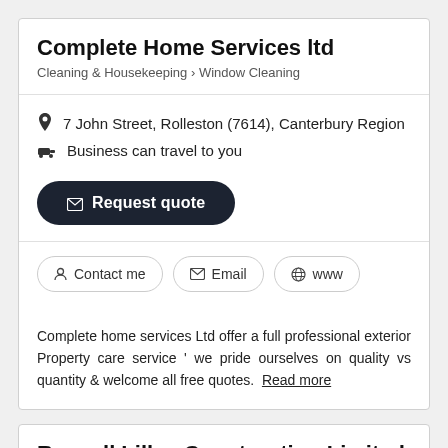Complete Home Services ltd
Cleaning & Housekeeping › Window Cleaning
7 John Street, Rolleston (7614), Canterbury Region
Business can travel to you
✉ Request quote
Contact me  Email  www
Complete home services Ltd offer a full professional exterior Property care service ' we pride ourselves on quality vs quantity & welcome all free quotes. Read more
Russell Lilley Construction Limited